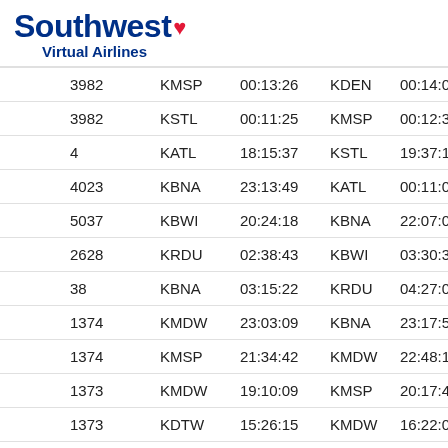[Figure (logo): Southwest Virtual Airlines logo with blue bold text and red heart symbol]
| 3982 | KMSP | 00:13:26 | KDEN | 00:14:04 | 73W |
| 3982 | KSTL | 00:11:25 | KMSP | 00:12:30 | 73W |
| 4 | KATL | 18:15:37 | KSTL | 19:37:16 | 73W |
| 4023 | KBNA | 23:13:49 | KATL | 00:11:04 | 73W |
| 5037 | KBWI | 20:24:18 | KBNA | 22:07:04 | 73H |
| 2628 | KRDU | 02:38:43 | KBWI | 03:30:39 | 73W |
| 38 | KBNA | 03:15:22 | KRDU | 04:27:00 | 73W |
| 1374 | KMDW | 23:03:09 | KBNA | 23:17:50 | 73W |
| 1374 | KMSP | 21:34:42 | KMDW | 22:48:11 | 73W |
| 1373 | KMDW | 19:10:09 | KMSP | 20:17:43 | 73W |
| 1373 | KDTW | 15:26:15 | KMDW | 16:22:01 | 73W |